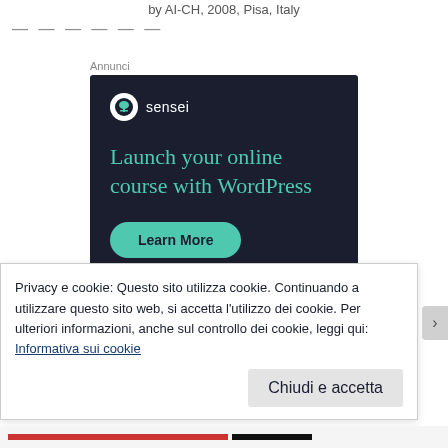by AI-CH, 2008, Pisa, Italy
— — — — — —
Annunci
[Figure (illustration): Sensei advertisement banner on dark navy background. Shows Sensei logo (white circle with tree icon), tagline 'Launch your online course with WordPress' in teal/mint color, and a 'Learn More' button in teal.]
Privacy e cookie: Questo sito utilizza cookie. Continuando a utilizzare questo sito web, si accetta l'utilizzo dei cookie. Per ulteriori informazioni, anche sul controllo dei cookie, leggi qui: Informativa sui cookie
Chiudi e accetta